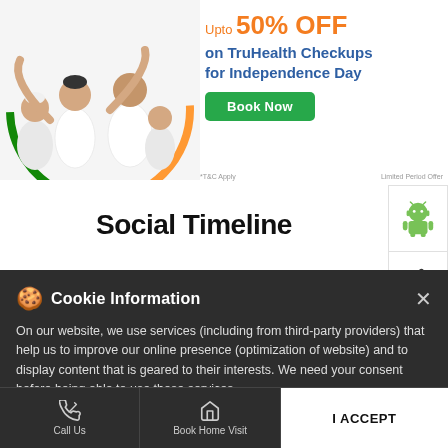[Figure (photo): Family photo with multiple members sitting/posing with tricolor (Indian flag colors) design element]
Upto 50% OFF on TruHealth Checkups for Independence Day
Book Now
*T&C Apply
Limited Period Offer
[Figure (logo): Android app badge icon (green Android robot)]
[Figure (logo): Apple app badge icon (Apple logo)]
Social Timeline
Cookie Information
On our website, we use services (including from third-party providers) that help us to improve our online presence (optimization of website) and to display content that is geared to their interests. We need your consent before being able to use these services.
Call Us
Book Home Visit
Directions
I ACCEPT